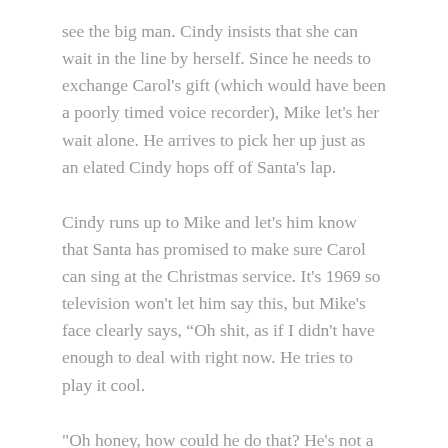see the big man. Cindy insists that she can wait in the line by herself. Since he needs to exchange Carol's gift (which would have been a poorly timed voice recorder), Mike let's her wait alone. He arrives to pick her up just as an elated Cindy hops off of Santa's lap.
Cindy runs up to Mike and let's him know that Santa has promised to make sure Carol can sing at the Christmas service. It's 1969 so television won't let him say this, but Mike's face clearly says, “Oh shit, as if I didn't have enough to deal with right now. He tries to play it cool.
"Oh honey, how could he do that? He's not a doctor," he says.